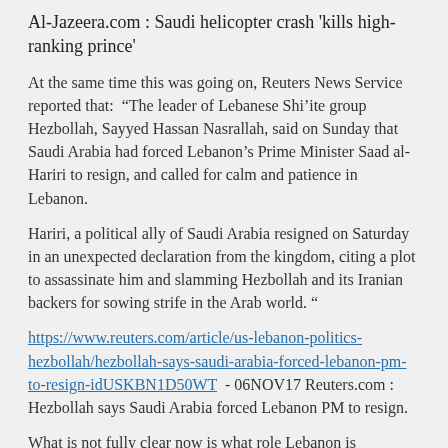Al-Jazeera.com : Saudi helicopter crash 'kills high-ranking prince'
At the same time this was going on, Reuters News Service reported that: “The leader of Lebanese Shi’ite group Hezbollah, Sayyed Hassan Nasrallah, said on Sunday that Saudi Arabia had forced Lebanon’s Prime Minister Saad al-Hariri to resign, and called for calm and patience in Lebanon.
Hariri, a political ally of Saudi Arabia resigned on Saturday in an unexpected declaration from the kingdom, citing a plot to assassinate him and slamming Hezbollah and its Iranian backers for sowing strife in the Arab world. “
https://www.reuters.com/article/us-lebanon-politics-hezbollah/hezbollah-says-saudi-arabia-forced-lebanon-pm-to-resign-idUSKBN1D50WT  - 06NOV17 Reuters.com : Hezbollah says Saudi Arabia forced Lebanon PM to resign.
What is not fully clear now is what role Lebanon is to play in the coming events.  Alex Christoforou, writing for The Duran on Nov 8th has reported that:  “Lebanon finds “itself in the thick of